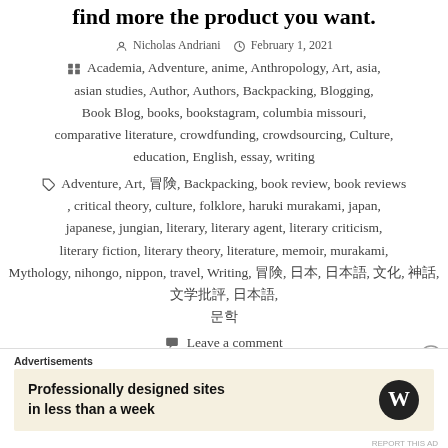find more the product you want.
Nicholas Andriani   February 1, 2021
Academia, Adventure, anime, Anthropology, Art, asia, asian studies, Author, Authors, Backpacking, Blogging, Book Blog, books, bookstagram, columbia missouri, comparative literature, crowdfunding, crowdsourcing, Culture, education, English, essay, writing
Adventure, Art, 冒険, Backpacking, book review, book reviews, critical theory, culture, folklore, haruki murakami, japan, japanese, jungian, literary, literary agent, literary criticism, literary fiction, literary theory, literature, memoir, murakami, Mythology, nihongo, nippon, travel, Writing, 冒険, 日本, 日本語, 文化, 神話, 文学批評, 日本語, 문학
Leave a comment
Advertisements
Professionally designed sites in less than a week